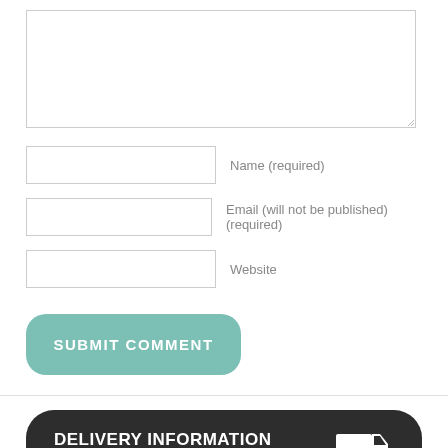[Figure (screenshot): A textarea input field with resize handle at bottom-right corner]
Name (required)
Email (will not be published) (required)
Website
SUBMIT COMMENT
DELIVERY INFORMATION
Shipping Information
TRACK MY ORDER